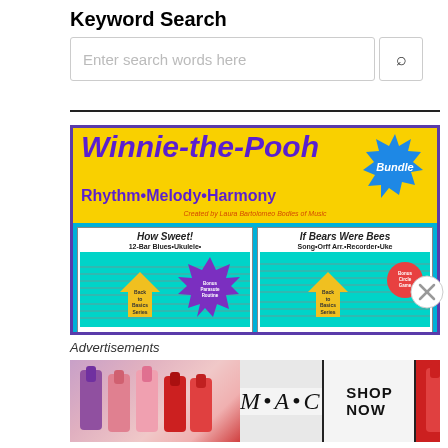Keyword Search
Enter search words here
[Figure (screenshot): Winnie-the-Pooh Bundle product image: yellow and teal background with purple bold italic text 'Winnie-the-Pooh', subtitle 'Rhythm•Melody•Harmony', blue starburst badge 'Bundle', created by Laura Bartolomeo Bodles of Music. Two sub-cards: 'How Sweet! 12-Bar Blues•Ukulele•' and 'If Bears Were Bees Song•Orff Arr.•Recorder•Uke', each with teal background, sheet music, Back to Basics Series arrows, and circular stickers.]
Advertisements
[Figure (photo): MAC cosmetics advertisement showing lipsticks in purple, pink, and red shades. Center shows 'M•A•C' logo text. Right side has a box reading 'SHOP NOW'.]